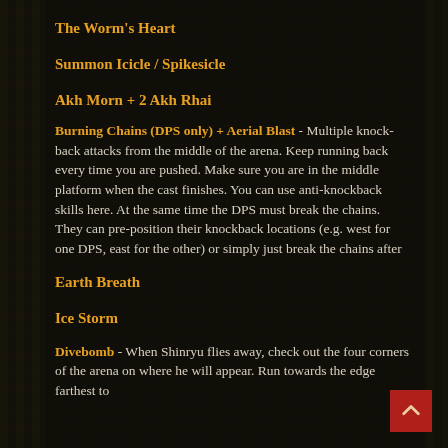The Worm's Heart
Summon Icicle / Spikesicle
Akh Morn + 2 Akh Rhai
Burning Chains (DPS only) + Aerial Blast - Multiple knock-back attacks from the middle of the arena. Keep running back every time you are pushed. Make sure you are in the middle platform when the cast finishes. You can use anti-knockback skills here. At the same time the DPS must break the chains. They can pre-position their knockback locations (e.g. west for one DPS, east for the other) or simply just break the chains after
Earth Breath
Ice Storm
Divebomb - When Shinryu flies away, check out the four corners of the arena on where he will appear. Run towards the edge farthest to him to avoid his large straightline AOE.